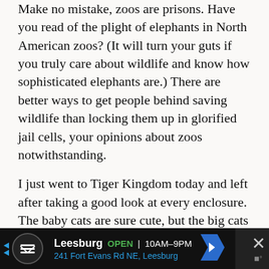Make no mistake, zoos are prisons. Have you read of the plight of elephants in North American zoos? (It will turn your guts if you truly care about wildlife and know how sophisticated elephants are.) There are better ways to get people behind saving wildlife than locking them up in glorified jail cells, your opinions about zoos notwithstanding.
I just went to Tiger Kingdom today and left after taking a good look at every enclosure. The baby cats are sure cute, but the big cats just hammer home to me that they don’t belong here, a tourist side show. At least there are no
[Figure (other): Advertisement banner at the bottom: business name 'Leesburg', status 'OPEN', hours '10AM-9PM', address '241 Fort Evans Rd NE, Leesburg', with navigation arrow icon and a close (X) button on the right.]